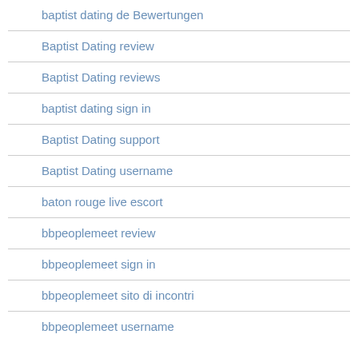baptist dating de Bewertungen
Baptist Dating review
Baptist Dating reviews
baptist dating sign in
Baptist Dating support
Baptist Dating username
baton rouge live escort
bbpeoplemeet review
bbpeoplemeet sign in
bbpeoplemeet sito di incontri
bbpeoplemeet username